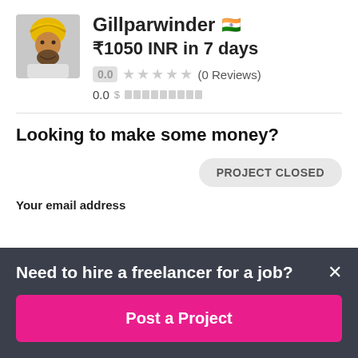[Figure (photo): Profile photo of user Gillparwinder, a man wearing a yellow turban]
Gillparwinder 🇮🇳
₹1050 INR in 7 days
0.0 ★★★★★ (0 Reviews)
0.0 $ ▓▓▓▓▓▓▓▓▓
Looking to make some money?
PROJECT CLOSED
Your email address
Need to hire a freelancer for a job?
Post a Project